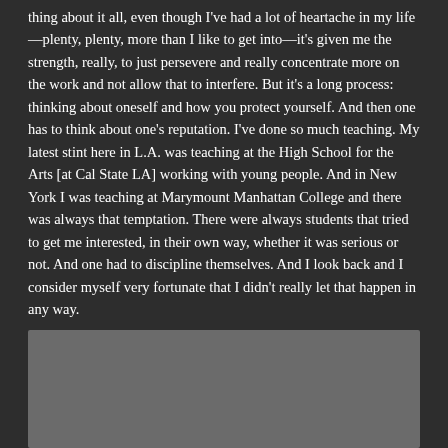thing about it all, even though I've had a lot of heartache in my life—plenty, plenty, more than I like to get into—it's given me the strength, really, to just persevere and really concentrate more on the work and not allow that to interfere. But it's a long process: thinking about oneself and how you protect yourself. And then one has to think about one's reputation. I've done so much teaching. My latest stint here in L.A. was teaching at the High School for the Arts [at Cal State LA] working with young people. And in New York I was teaching at Marymount Manhattan College and there was always that temptation. There were always students that tried to get me interested, in their own way, whether it was serious or not. And one had to discipline themselves. And I look back and I consider myself very fortunate that I didn't really let that happen in any way.
[Figure (photo): A partially visible photograph at the bottom of the page, showing a dark background with a grey rectangular image area.]